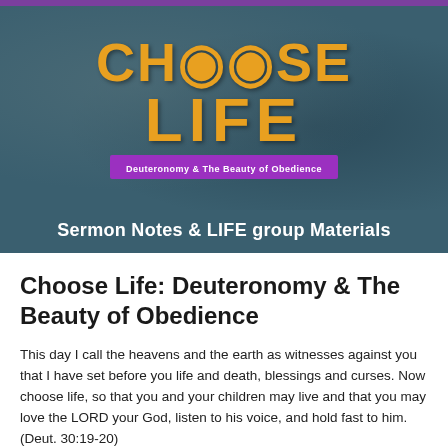[Figure (illustration): Choose Life banner image with teal/dark blue textured background, featuring large orange bold text 'CHOOSE LIFE' with illustrated characters and grapes incorporated into letters, a purple subtitle ribbon reading 'Deuteronomy & The Beauty of Obedience', and a white bold text line 'Sermon Notes & LIFE group Materials' at the bottom of the banner.]
Choose Life: Deuteronomy & The Beauty of Obedience
This day I call the heavens and the earth as witnesses against you that I have set before you life and death, blessings and curses. Now choose life, so that you and your children may live and that you may love the LORD your God, listen to his voice, and hold fast to him. (Deut. 30:19-20)